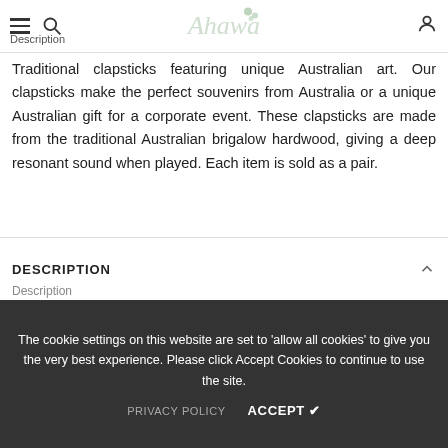Description — Ahava (logo)
Traditional clapsticks featuring unique Australian art. Our clapsticks make the perfect souvenirs from Australia or a unique Australian gift for a corporate event. These clapsticks are made from the traditional Australian brigalow hardwood, giving a deep resonant sound when played. Each item is sold as a pair.
Packaging : Boxed
Boxed   Loose
Tags: / Art Down Under / Clapsticks
The cookie settings on this website are set to 'allow all cookies' to give you the very best experience. Please click Accept Cookies to continue to use the site.
PRIVACY POLICY   ACCEPT ✔
DESCRIPTION
Description